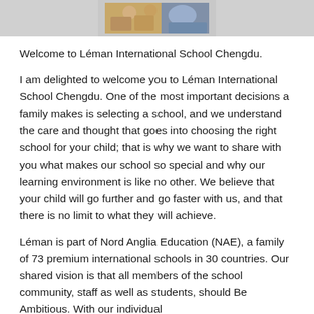[Figure (photo): A photo of students/children in a school setting, cropped at top of page]
Welcome to Léman International School Chengdu.
I am delighted to welcome you to Léman International School Chengdu. One of the most important decisions a family makes is selecting a school, and we understand the care and thought that goes into choosing the right school for your child; that is why we want to share with you what makes our school so special and why our learning environment is like no other. We believe that your child will go further and go faster with us, and that there is no limit to what they will achieve.
Léman is part of Nord Anglia Education (NAE), a family of 73 premium international schools in 30 countries. Our shared vision is that all members of the school community, staff as well as students, should Be Ambitious. With our individual